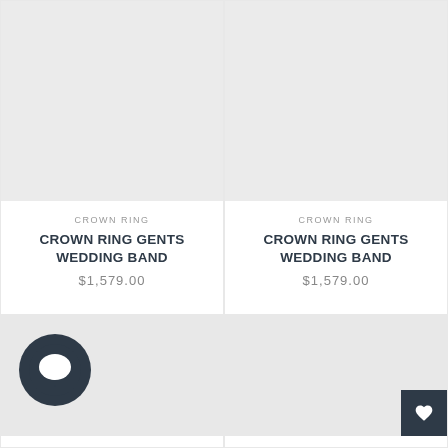[Figure (photo): Product card top-left: light gray image placeholder for Crown Ring Gents Wedding Band]
CROWN RING
CROWN RING GENTS WEDDING BAND
$1,579.00
[Figure (photo): Product card top-right: light gray image placeholder for Crown Ring Gents Wedding Band]
CROWN RING
CROWN RING GENTS WEDDING BAND
$1,579.00
[Figure (illustration): Bottom-left product card with dark circular chat/comment bubble icon on gray background]
[Figure (illustration): Bottom-right product card with gray background and dark heart/favorite button in bottom-right corner]